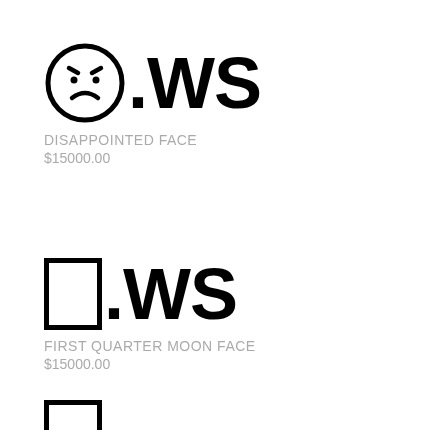[Figure (illustration): Disappointed face emoji followed by .WS domain text]
DISAPPOINTED FACE
$15000.00
[Figure (illustration): First quarter moon face emoji (rectangle placeholder) followed by .WS domain text]
FIRST QUARTER MOON FACE
$15000.00
[Figure (illustration): Partial rectangle emoji at bottom of page followed by .WS text (partially visible)]